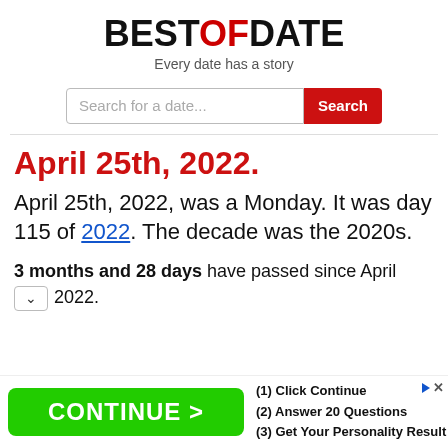BESTOFDATE – Every date has a story
Search for a date... [Search]
April 25th, 2022.
April 25th, 2022, was a Monday. It was day 115 of 2022. The decade was the 2020s.
3 months and 28 days have passed since April 2022.
[Figure (screenshot): Advertisement banner: green CONTINUE > button with (1) Click Continue (2) Answer 20 Questions (3) Get Your Personality Result]